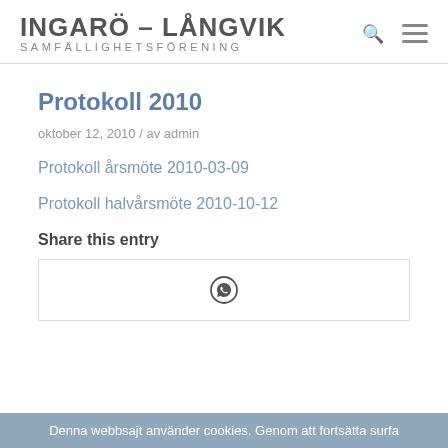INGARÖ – LÅNGVIK SAMFÄLLIGHETSFÖRENING
Protokoll 2010
oktober 12, 2010 / av admin
Protokoll årsmöte 2010-03-09
Protokoll halvårsmöte 2010-10-12
Share this entry
[Figure (other): WhatsApp share icon inside a bordered box]
Denna webbsajt använder cookies. Genom att fortsätta surfa